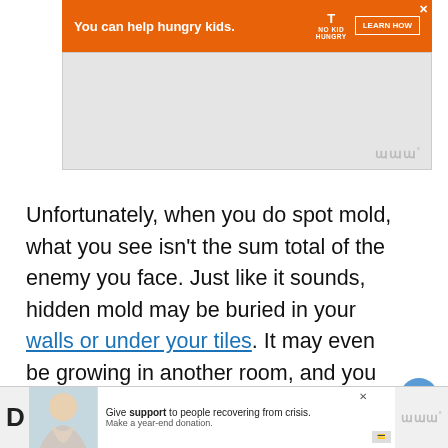[Figure (other): Orange advertisement banner: 'You can help hungry kids.' with No Kid Hungry logo and LEARN HOW button]
[Figure (other): Large grey advertisement placeholder box with WW logo watermark in bottom right corner]
Unfortunately, when you do spot mold, what you see isn't the sum total of the enemy you face. Just like it sounds, hidden mold may be buried in your walls or under your tiles. It may even be growing in another room, and you might just see the bit that grew through the wall into the bathroom.
[Figure (other): Bottom advertisement bar showing two people holding hands image, 'Give support to people recovering from crisis. Make a year-end donation.' text, and WW logo]